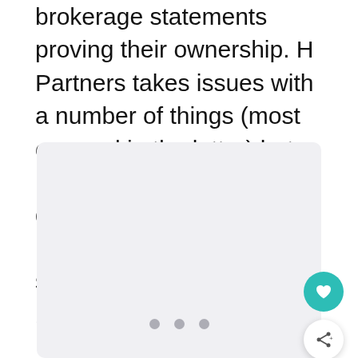brokerage statements proving their ownership. H Partners takes issues with a number of things (most covered in the letter) but it's most pressing issue is getting ahold of business records to start its solicitations for the proxy battle.
[Figure (other): A light gray card/placeholder area with three pagination dots centered near the bottom, a teal circular heart/like button on the right, and a white circular share button below it.]